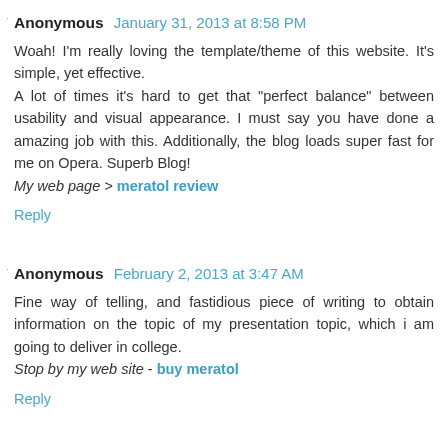Anonymous  January 31, 2013 at 8:58 PM
Woah! I'm really loving the template/theme of this website. It's simple, yet effective.
A lot of times it's hard to get that "perfect balance" between usability and visual appearance. I must say you have done a amazing job with this. Additionally, the blog loads super fast for me on Opera. Superb Blog!
My web page > meratol review
Reply
Anonymous  February 2, 2013 at 3:47 AM
Fine way of telling, and fastidious piece of writing to obtain information on the topic of my presentation topic, which i am going to deliver in college.
Stop by my web site - buy meratol
Reply
Anonymous  February 4, 2013 at 9:42 PM